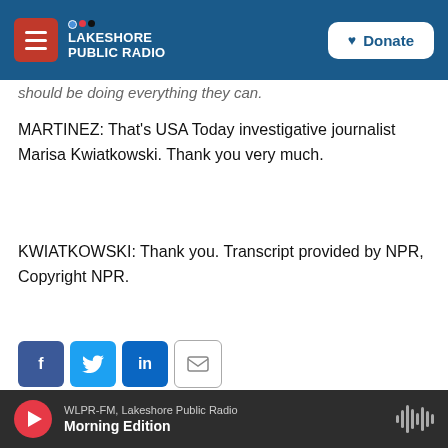NPR Lakeshore Public Radio — Donate
should be doing everything they can.
MARTINEZ: That's USA Today investigative journalist Marisa Kwiatkowski. Thank you very much.
KWIATKOWSKI: Thank you. Transcript provided by NPR, Copyright NPR.
[Figure (infographic): Social share buttons: Facebook (blue), Twitter (blue), LinkedIn (blue), Email (outlined)]
Latest Local And National News
WLPR-FM, Lakeshore Public Radio — Morning Edition (audio player bar)